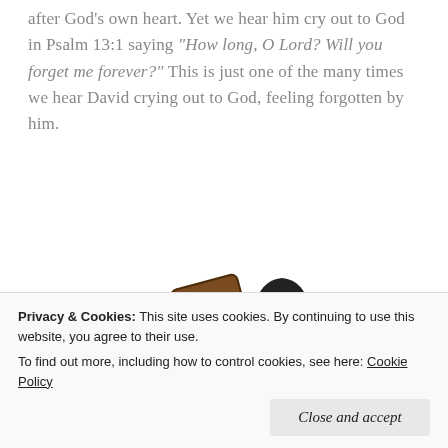after God's own heart. Yet we hear him cry out to God in Psalm 13:1 saying "How long, O Lord? Will you forget me forever?" This is just one of the many times we hear David crying out to God, feeling forgotten by him.
[Figure (illustration): Cartoon illustration of a large warrior figure in green tunic holding a large wooden hammer/mallet, wearing a gold headband and arm bands, with an angry expression. A small figure below uses a sling to launch a projectile at the giant.]
Privacy & Cookies: This site uses cookies. By continuing to use this website, you agree to their use. To find out more, including how to control cookies, see here: Cookie Policy